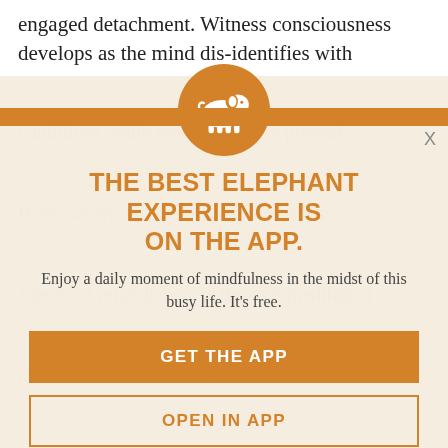engaged detachment. Witness consciousness develops as the mind dis-identifies with
[Figure (infographic): App promotion modal overlay on article page. Orange circle with white elephant icon at top. Bold orange heading: THE BEST ELEPHANT EXPERIENCE IS ON THE APP. Subtitle: Enjoy a daily moment of mindfulness in the midst of this busy life. It's free. Orange GET THE APP button. Outlined OPEN IN APP button. X close button top right.]
THE BEST ELEPHANT EXPERIENCE IS ON THE APP.
Enjoy a daily moment of mindfulness in the midst of this busy life. It's free.
GET THE APP
OPEN IN APP